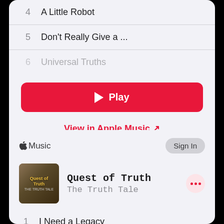4  A Little Robot
5  Don't Really Give a ...
6  Universal Truths
▶ Play
View in Apple Music ↗
Music  Sign In
[Figure (illustration): Quest of Truth album art by The Truth Tale]
Quest of Truth
The Truth Tale
1  I Need a Legacy
2  Mission to the Stars